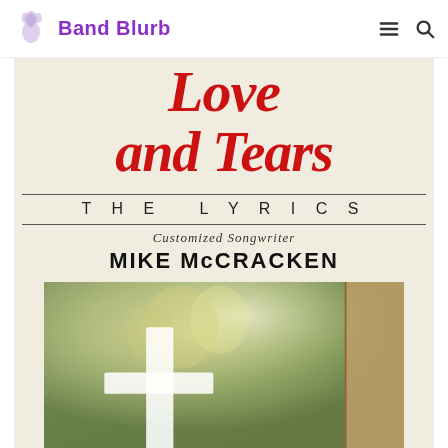Band Blurb
[Figure (photo): Book cover for 'Love and Tears: The Lyrics' by Mike McCracken (Customized Songwriter). The cover has a beige/cream background with large red italic cursive title text reading 'Love and Tears', a subtitle 'THE LYRICS' in spaced caps, and author credit. The lower portion shows an artistic painting-like image featuring a white cross in the foreground and angelic/heavenly figures in a soft background, with a stone arch at right.]